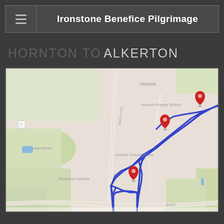Ironstone Benefice Pilgrimage
HORNTON TO ALKERTON
[Figure (map): Google Maps screenshot showing a route (blue line) from Hornton to Alkerton, passing through Hornton village. Three red map pin markers are visible. Labels include Hornton, Hornton Primary School, Hornton Grounds Lane, Workshop Heaven, Heart Wood, and road A422. The route follows roads south-westward from Hornton.]